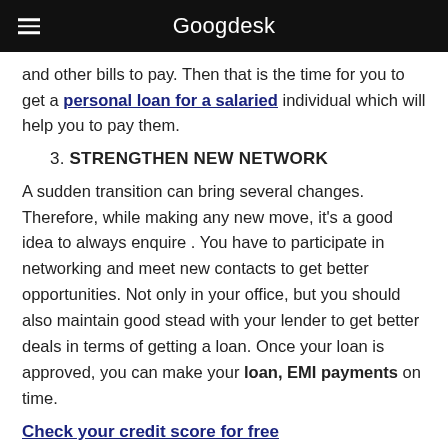Googdesk
and other bills to pay. Then that is the time for you to get a personal loan for a salaried individual which will help you to pay them.
3. STRENGTHEN NEW NETWORK
A sudden transition can bring several changes. Therefore, while making any new move, it's a good idea to always enquire . You have to participate in networking and meet new contacts to get better opportunities. Not only in your office, but you should also maintain good stead with your lender to get better deals in terms of getting a loan. Once your loan is approved, you can make your loan, EMI payments on time.
Check your credit score for free